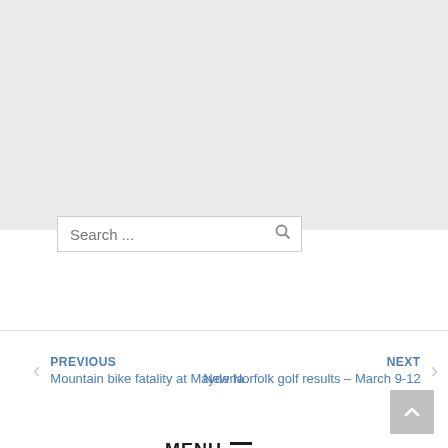Search ... [search icon] MENU ☰
PREVIOUS
Mountain bike fatality at Maydena
NEXT
New Norfolk golf results – March 9-12